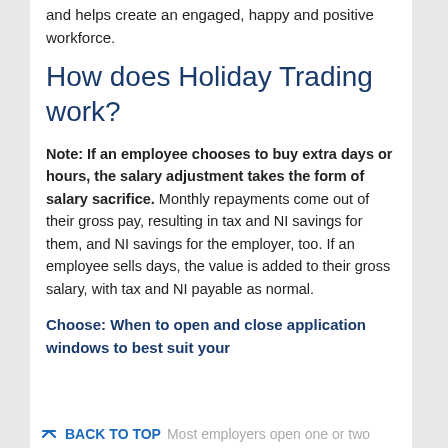and helps create an engaged, happy and positive workforce.
How does Holiday Trading work?
Note: If an employee chooses to buy extra days or hours, the salary adjustment takes the form of salary sacrifice. Monthly repayments come out of their gross pay, resulting in tax and NI savings for them, and NI savings for the employer, too. If an employee sells days, the value is added to their gross salary, with tax and NI payable as normal.
Choose: When to open and close application windows to best suit your business. Most employers open one or two
BACK TO TOP